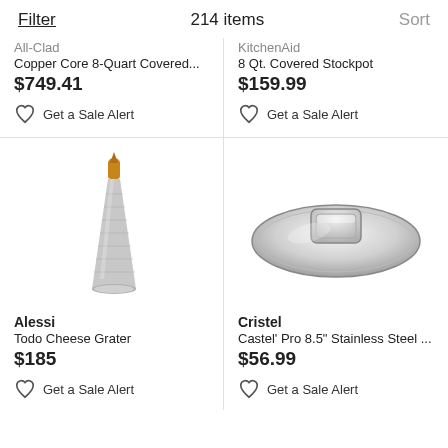Filter   214 items   Sort
All-Clad
Copper Core 8-Quart Covered...
$749.41
Get a Sale Alert
KitchenAid
8 Qt. Covered Stockpot
$159.99
Get a Sale Alert
[Figure (photo): Alessi Todo Cheese Grater - a conical silver grater with orange/wooden top]
Alessi
Todo Cheese Grater
$185
Get a Sale Alert
[Figure (photo): Cristel Castel Pro 8.5 inch stainless steel lid - round shiny silver lid with square handle]
Cristel
Castel' Pro 8.5" Stainless Steel ...
$56.99
Get a Sale Alert